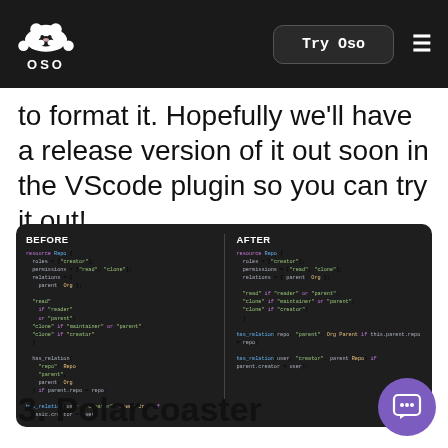OSO — Try Oso
to format it. Hopefully we'll have a release version of it out soon in the VScode plugin so you can try it out!
[Figure (screenshot): Code comparison showing BEFORE and AFTER formatting of Polar policy code in a dark-themed editor]
3. Polarcoaster